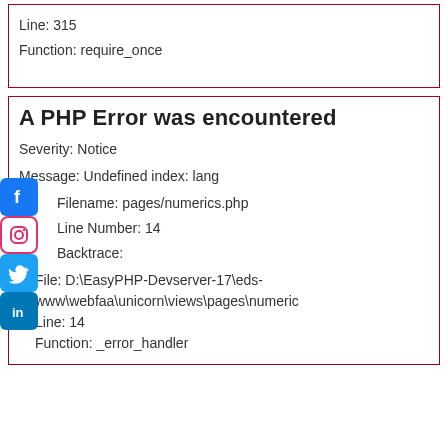Line: 315
Function: require_once
A PHP Error was encountered
Severity: Notice
Message: Undefined index: lang
Filename: pages/numerics.php
Line Number: 14
Backtrace:
File: D:\EasyPHP-Devserver-17\eds-www\webfaa\unicorn\views\pages\numeric
Line: 14
Function: _error_handler